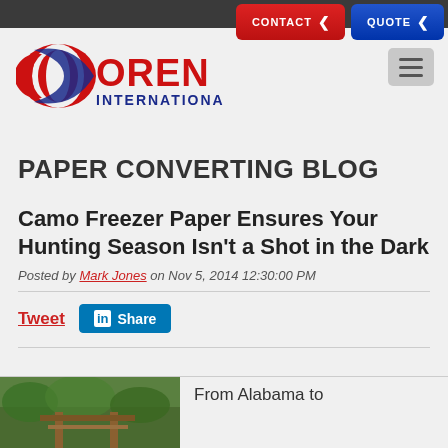[Figure (screenshot): Website header with CONTACT (red) and QUOTE (blue) pill-shaped buttons with chevron icons]
[Figure (logo): Oren International company logo — red swoosh globe icon with OREN in red and INTERNATIONAL in blue]
PAPER CONVERTING BLOG
Camo Freezer Paper Ensures Your Hunting Season Isn't a Shot in the Dark
Posted by Mark Jones on Nov 5, 2014 12:30:00 PM
Tweet  Share
[Figure (photo): Outdoor nature/garden photo thumbnail — green plants and wooden structure]
From Alabama to